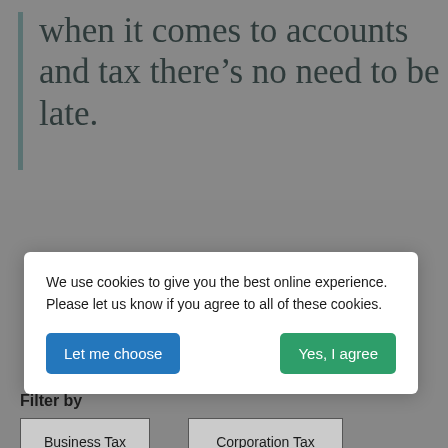when it comes to accounts and tax there's no need to be late.
We use cookies to give you the best online experience. Please let us know if you agree to all of these cookies.
Let me choose
Yes, I agree
Filter by
Business Tax
Corporation Tax
PAYE and NI